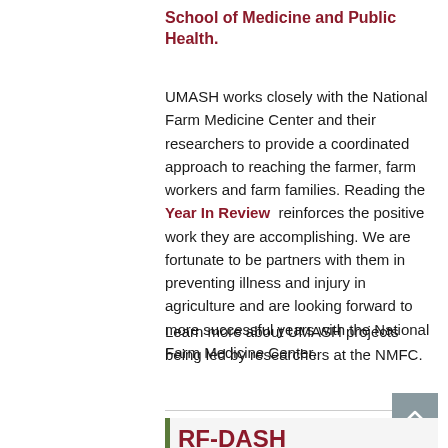School of Medicine and Public Health.
UMASH works closely with the National Farm Medicine Center and their researchers to provide a coordinated approach to reaching the farmer, farm workers and farm families. Reading the Year In Review reinforces the positive work they are accomplishing. We are fortunate to be partners with them in preventing illness and injury in agriculture and are looking forward to more successful years with the National Farm Medicine Center.
Learn more about UMASH projects being led by researchers at the NMFC.
RF-DASH